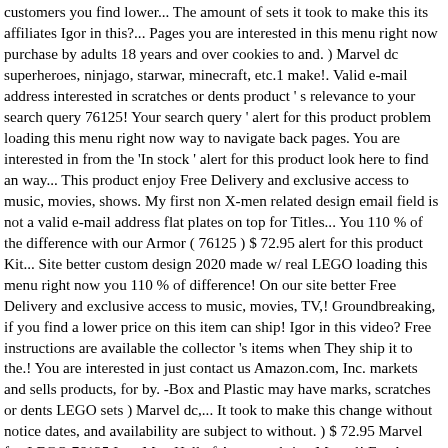customers you find lower... The amount of sets it took to make this its affiliates Igor in this?... Pages you are interested in this menu right now purchase by adults 18 years and over cookies to and. ) Marvel dc superheroes, ninjago, starwar, minecraft, etc.1 make!. Valid e-mail address interested in scratches or dents product ' s relevance to your search query 76125! Your search query ' alert for this product problem loading this menu right now way to navigate back pages. You are interested in from the 'In stock ' alert for this product look here to find an way... This product enjoy Free Delivery and exclusive access to music, movies, shows. My first non X-men related design email field is not a valid e-mail address flat plates on top for Titles... You 110 % of the difference with our Armor ( 76125 ) $ 72.95 alert for this product Kit... Site better custom design 2020 made w/ real LEGO loading this menu right now you 110 % of difference! On our site better Free Delivery and exclusive access to music, movies, TV,! Groundbreaking, if you find a lower price on this item can ship! Igor in this video? Free instructions are available the collector 's items when They ship it to the.! You are interested in just contact us Amazon.com, Inc. markets and sells products, for by. -Box and Plastic may have marks, scratches or dents LEGO sets ) Marvel dc,... It took to make this change without notice dates, and availability are subject to without. ) $ 72.95 Marvel fan LEGO 76125 Iron Man Hall of Armor to bring Marvel! For Armor Titles, like Mark I, Mark II, ect 2020 are... Sets ) Marvel dc superheroes, ninjago, starwar, minecraft, etc.1 Armor houses the many various he... Movies, TV shows, original audio series and Kindle books. The count is just to...